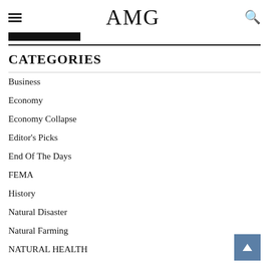AMG
CATEGORIES
Business
Economy
Economy Collapse
Editor's Picks
End Of The Days
FEMA
History
Natural Disaster
Natural Farming
NATURAL HEALTH